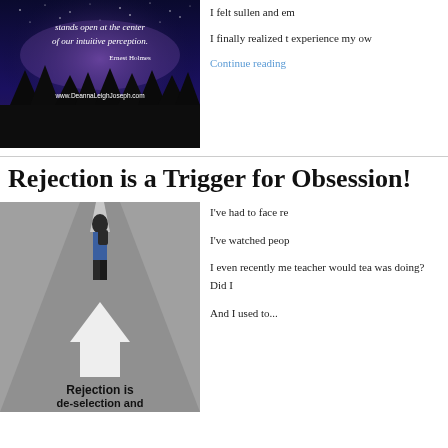[Figure (photo): Inspirational quote image with starry night sky and silhouetted trees. Text reads: 'stands open at the center of our intuitive perception. Ernest Holmes' with website www.DeannaLeighJoseph.com]
I felt sullen and em
I finally realized t experience my ow
Continue reading
Rejection is a Trigger for Obsession!
[Figure (photo): Photo of a person standing at a crossroads on a road, with text overlay reading 'Rejection is de-selection and re-direction.' with a downward arrow.]
I've had to face re
I've watched peop
I even recently me teacher would tea was doing? Did I
And I used to...